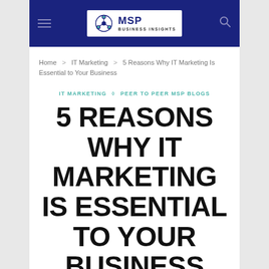MSP Business Insights
Home > IT Marketing > 5 Reasons Why IT Marketing Is Essential to Your Business
IT MARKETING ◇ PEER TO PEER MSP BLOGS
5 REASONS WHY IT MARKETING IS ESSENTIAL TO YOUR BUSINESS